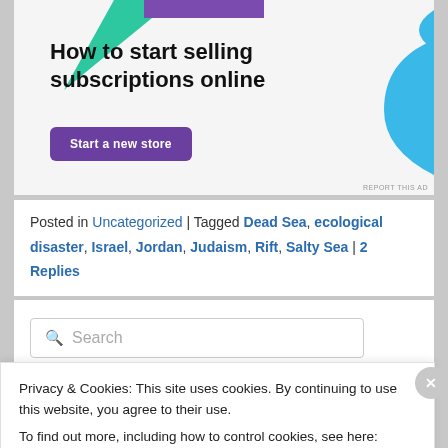[Figure (illustration): Advertisement banner: 'How to start selling subscriptions online' with a purple 'Start a new store' button, green triangle top-left, blue curved shape top-right, on light gray background.]
Posted in Uncategorized | Tagged Dead Sea, ecological disaster, Israel, Jordan, Judaism, Rift, Salty Sea | 2 Replies
Search
Privacy & Cookies: This site uses cookies. By continuing to use this website, you agree to their use.
To find out more, including how to control cookies, see here: Cookie Policy
Close and accept